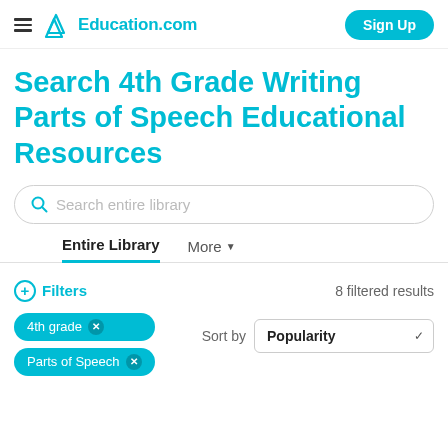Education.com | Sign Up
Search 4th Grade Writing Parts of Speech Educational Resources
Search entire library
Entire Library | More
Filters   8 filtered results
4th grade ×
Parts of Speech ×
Sort by Popularity